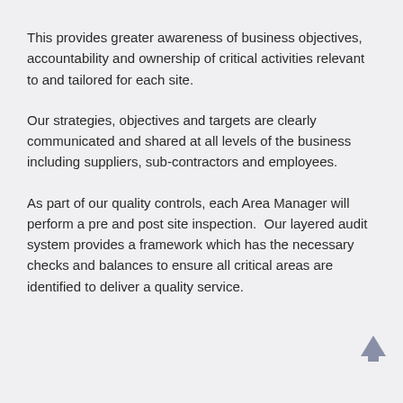This provides greater awareness of business objectives, accountability and ownership of critical activities relevant to and tailored for each site.
Our strategies, objectives and targets are clearly communicated and shared at all levels of the business including suppliers, sub-contractors and employees.
As part of our quality controls, each Area Manager will perform a pre and post site inspection.  Our layered audit system provides a framework which has the necessary checks and balances to ensure all critical areas are identified to deliver a quality service.